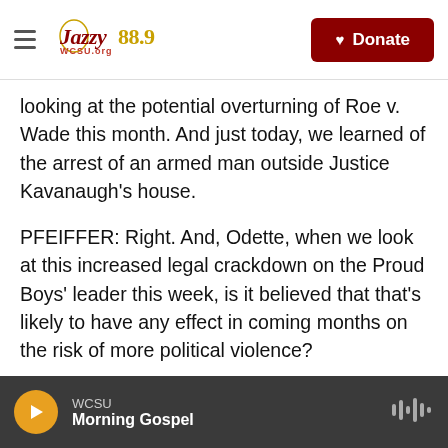Jazzy 88.9 | WCSU.org — Donate
looking at the potential overturning of Roe v. Wade this month. And just today, we learned of the arrest of an armed man outside Justice Kavanaugh's house.
PFEIFFER: Right. And, Odette, when we look at this increased legal crackdown on the Proud Boys' leader this week, is it believed that that's likely to have any effect in coming months on the risk of more political violence?
YOUSEF: You know, it's really hard to say. Extremism researchers have told me that it is
WCSU — Morning Gospel